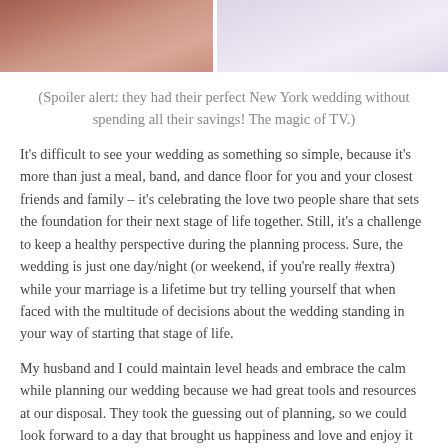[Figure (photo): Cropped photo showing two people, partially visible at top of page — left side shows a person in darker clothing, right side shows a person in a white/light-colored garment]
(Spoiler alert: they had their perfect New York wedding without spending all their savings! The magic of TV.)
It's difficult to see your wedding as something so simple, because it's more than just a meal, band, and dance floor for you and your closest friends and family – it's celebrating the love two people share that sets the foundation for their next stage of life together. Still, it's a challenge to keep a healthy perspective during the planning process. Sure, the wedding is just one day/night (or weekend, if you're really #extra) while your marriage is a lifetime but try telling yourself that when faced with the multitude of decisions about the wedding standing in your way of starting that stage of life.
My husband and I could maintain level heads and embrace the calm while planning our wedding because we had great tools and resources at our disposal. They took the guessing out of planning, so we could look forward to a day that brought us happiness and love and enjoy it without being distracted over what could go wrong. Here are the top three tools that made our